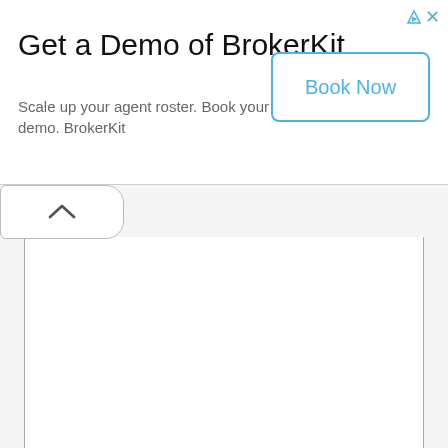Get a Demo of BrokerKit
Scale up your agent roster. Book your free demo. BrokerKit
[Figure (screenshot): Book Now button with blue border and blue text, rounded rectangle, on white background]
[Figure (screenshot): Collapsed UI panel with chevron/caret up arrow indicating a collapsible section, with white tab on grey background, and inner white content panel below]